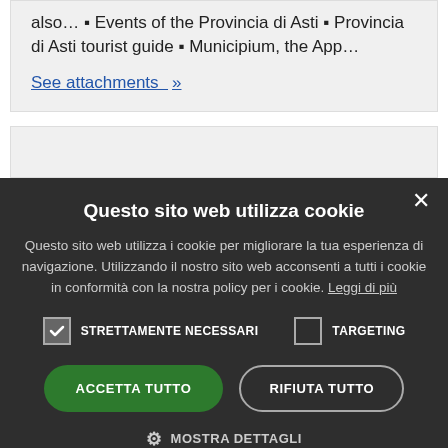also… ▪ Events of the Provincia di Asti ▪ Provincia di Asti tourist guide ▪ Municipium, the App…
See attachments »
Questo sito web utilizza cookie
Questo sito web utilizza i cookie per migliorare la tua esperienza di navigazione. Utilizzando il nostro sito web acconsenti a tutti i cookie in conformità con la nostra policy per i cookie. Leggi di più
STRETTAMENTE NECESSARI   TARGETING
ACCETTA TUTTO   RIFIUTA TUTTO
⚙ MOSTRA DETTAGLI